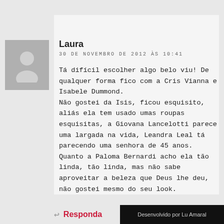Laura
30 DE NOVEMBRO DE 2012 ÀS 10:41
Tá difícil escolher algo belo viu! De qualquer forma fico com a Cris Vianna e Isabele Dummond.
Não gostei da Isis, ficou esquisito, aliás ela tem usado umas roupas esquisitas, a Giovana Lancelotti parece uma largada na vida, Leandra Leal tá parecendo uma senhora de 45 anos.
Quanto a Paloma Bernardi acho ela tão linda, tão linda, mas não sabe aproveitar a beleza que Deus lhe deu, não gostei mesmo do seu look.
Responda
Desenvolvido por Lu Amaral